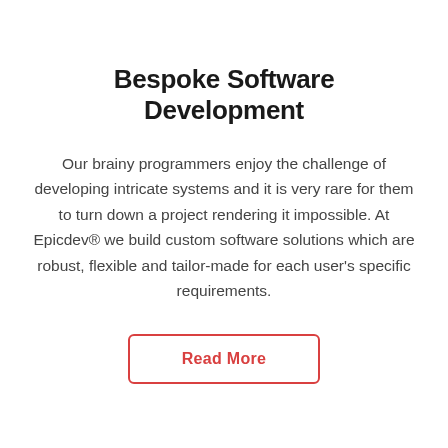Bespoke Software Development
Our brainy programmers enjoy the challenge of developing intricate systems and it is very rare for them to turn down a project rendering it impossible. At Epicdev® we build custom software solutions which are robust, flexible and tailor-made for each user's specific requirements.
Read More